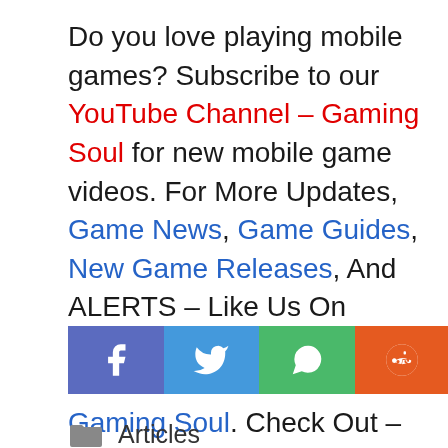Do you love playing mobile games? Subscribe to our YouTube Channel – Gaming Soul for new mobile game videos. For More Updates, Game News, Game Guides, New Game Releases, And ALERTS – Like Us On Facebook – Gaming Soul, Follow Us On Twitter – Gaming Soul. Check Out – Best mobile games. Do you have any suggestions? Submit Here
[Figure (infographic): Four social share buttons: Facebook (blue-purple), Twitter (blue), WhatsApp (green), Reddit (orange)]
Articles
Princess Connect Re:Dive: Tips To